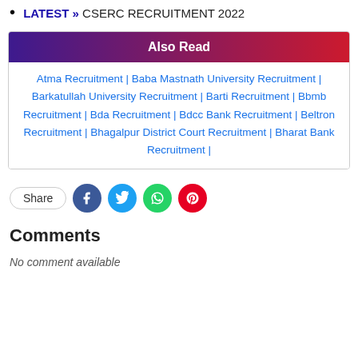LATEST » CSERC RECRUITMENT 2022
[Figure (infographic): Also Read box with gradient header (purple to red) and hyperlinks to various recruitment pages]
[Figure (infographic): Share row with Share label button and social media icon circles for Facebook, Twitter, WhatsApp, Pinterest]
Comments
No comment available